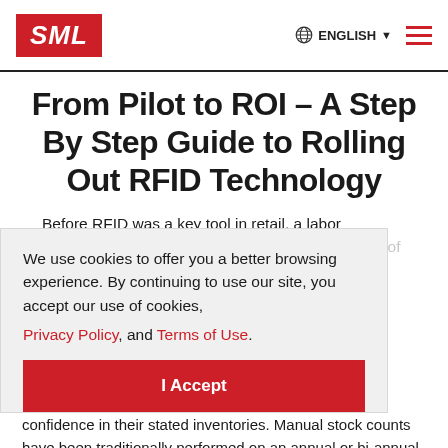SML | ENGLISH | menu
From Pilot to ROI – A Step By Step Guide to Rolling Out RFID Technology
Before RFID was a key tool in retail, a labor intensive, inaccurate, and often disruptive method of inventory tracking was used by retailers after your annual stock count.
We use cookies to offer you a better browsing experience. By continuing to use our site, you accept our use of cookies, Privacy Policy, and Terms of Use.
I Accept
Written By: SML Solutions   4 Min Read
It took the focus of retailers off of their customers and delivered subpar results that caused retailers to lack confidence in their stated inventories. Manual stock counts have been traditionally performed on an annual or bi-annual